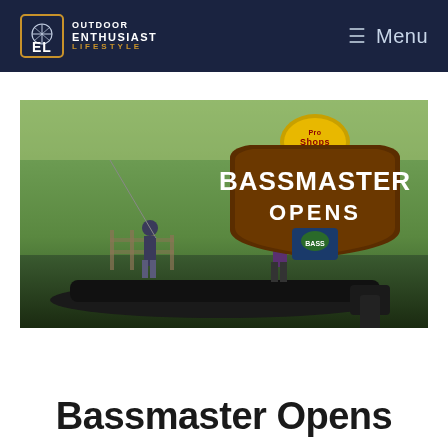OUTDOOR ENTHUSIAST LIFESTYLE — Menu
[Figure (photo): Two anglers standing on a bass fishing boat on a lake, one casting a rod. Overlay shows the Pro Shops Bassmaster Opens logo with a BASS shield emblem, set against a green wooded background.]
Bassmaster Opens